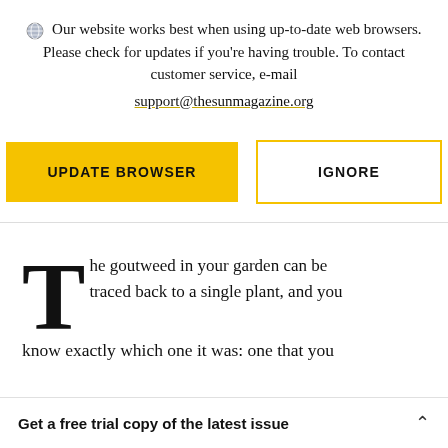Our website works best when using up-to-date web browsers. Please check for updates if you're having trouble. To contact customer service, e-mail support@thesunmagazine.org
[Figure (other): Two buttons: a yellow filled button labeled UPDATE BROWSER and a yellow-outlined white button labeled IGNORE]
The goutweed in your garden can be traced back to a single plant, and you know exactly which one it was: one that you
Get a free trial copy of the latest issue